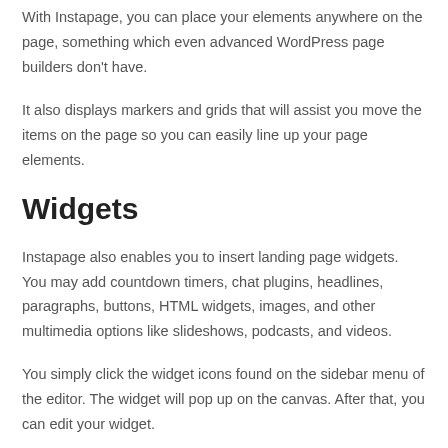liking.
With Instapage, you can place your elements anywhere on the page, something which even advanced WordPress page builders don't have.
It also displays markers and grids that will assist you move the items on the page so you can easily line up your page elements.
Widgets
Instapage also enables you to insert landing page widgets. You may add countdown timers, chat plugins, headlines, paragraphs, buttons, HTML widgets, images, and other multimedia options like slideshows, podcasts, and videos.
You simply click the widget icons found on the sidebar menu of the editor. The widget will pop up on the canvas. After that, you can edit your widget.